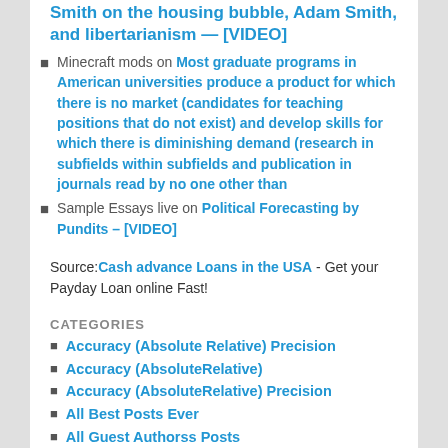Smith on the housing bubble, Adam Smith, and libertarianism — [VIDEO]
Minecraft mods on Most graduate programs in American universities produce a product for which there is no market (candidates for teaching positions that do not exist) and develop skills for which there is diminishing demand (research in subfields within subfields and publication in journals read by no one other than
Sample Essays live on Political Forecasting by Pundits – [VIDEO]
Source: Cash advance Loans in the USA - Get your Payday Loan online Fast!
CATEGORIES
Accuracy (Absolute Relative) Precision
Accuracy (AbsoluteRelative)
Accuracy (AbsoluteRelative) Precision
All Best Posts Ever
All Guest Authorss Posts